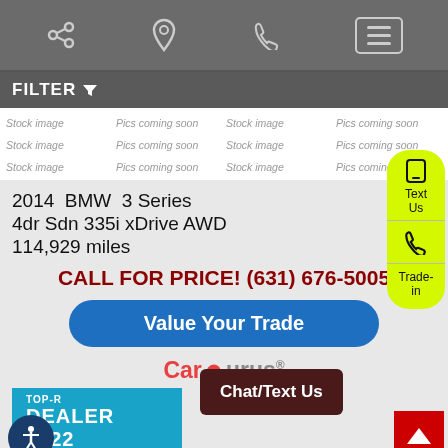Navigation bar with share, location, phone, and menu icons
FILTER
Stock image | Pics coming soon | Stock image | Pics coming soon | Stock image | Pics coming soon | Stock image | Pics coming soon | Stock image | Pics coming soon | Stock image | Pics coming soon
2014 BMW 3 Series
4dr Sdn 335i xDrive AWD
114,929 miles
CALL FOR PRICE! (631) 676-5005
Value Your Trade
[Figure (logo): CarGurus logo]
[Figure (infographic): TOP-RATED DEALER 2022 badge by CarGurus]
Chat/Text Us
Text Us
Trade-in